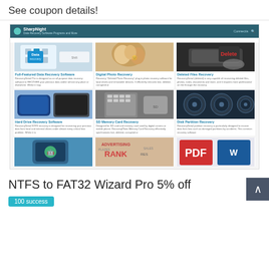See coupon details!
[Figure (screenshot): Screenshot of SharpNight data recovery software website showing a 3x3 grid of product categories including Full-Featured Data Recovery Software, Digital Photo Recovery, Deleted Files Recovery, Hard Drive Recovery Software, SD Memory Card Recovery, Disk Partition Recovery, and three more items in the bottom row.]
NTFS to FAT32 Wizard Pro 5% off
100 success